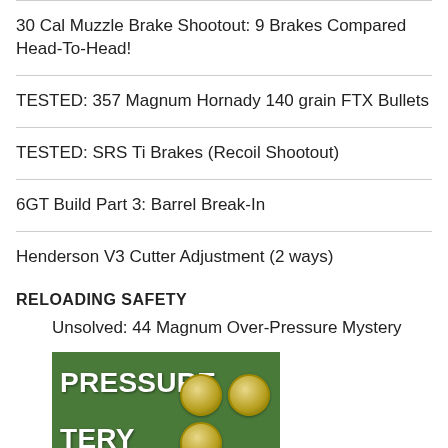30 Cal Muzzle Brake Shootout: 9 Brakes Compared Head-To-Head!
TESTED: 357 Magnum Hornady 140 grain FTX Bullets
TESTED: SRS Ti Brakes (Recoil Shootout)
6GT Build Part 3: Barrel Break-In
Henderson V3 Cutter Adjustment (2 ways)
RELOADING SAFETY
Unsolved: 44 Magnum Over-Pressure Mystery
[Figure (photo): Thumbnail image for '44 Magnum Over-Pressure Mystery' article showing text 'PRESSURE', 'TERY', and 'OLVED' in bold white/red letters on green background, with bullet casings visible on the right side]